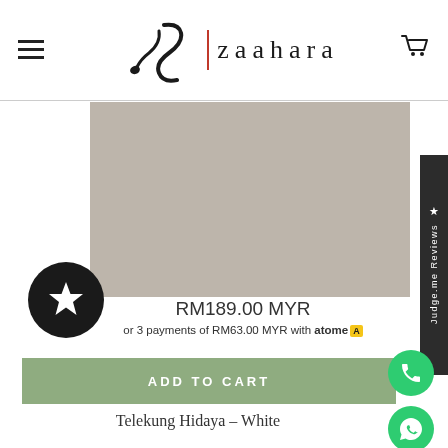[Figure (logo): Zaahara brand logo with stylized Z icon, red divider line, and 'zaahara' text with cart icon]
[Figure (photo): Product image placeholder in taupe/beige-grey color]
RM189.00 MYR
or 3 payments of RM63.00 MYR with atome
ADD TO CART
Telekung Hidaya – White